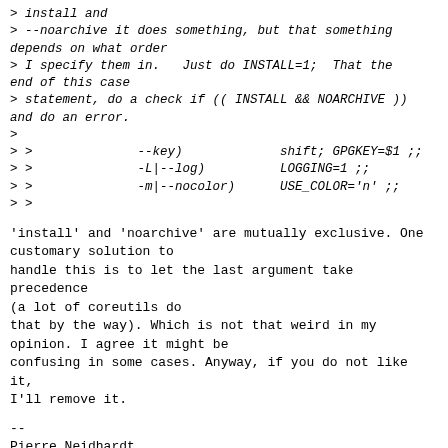> install and
> --noarchive it does something, but that something depends on what order
> I specify them in.   Just do INSTALL=1;  That the end of this case
> statement, do a check if (( INSTALL && NOARCHIVE )) and do an error.
>
> >              --key)             shift; GPGKEY=$1 ;;
> >              -L|--log)          LOGGING=1 ;;
> >              -m|--nocolor)      USE_COLOR='n' ;;
> >
'install' and 'noarchive' are mutually exclusive. One customary solution to
handle this is to let the last argument take precedence (a lot of coreutils do
that by the way). Which is not that weird in my opinion. I agree it might be
confusing in some cases. Anyway, if you do not like it, I'll remove it.
--
Pierre Neidhardt
History teaches us that men and nations behave wisely once they have
exhausted all other alternatives.
             -- Abba Eban